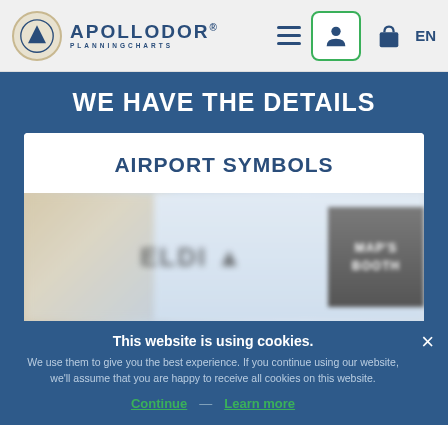APOLLODOR PLANNINGCHARTS — EN
WE HAVE THE DETAILS
AIRPORT SYMBOLS
[Figure (photo): Blurred photo of airport environment showing signs including 'ELDI' text and a 'BOOTH' sign]
This website is using cookies.
We use them to give you the best experience. If you continue using our website, we'll assume that you are happy to receive all cookies on this website.
Continue  Learn more